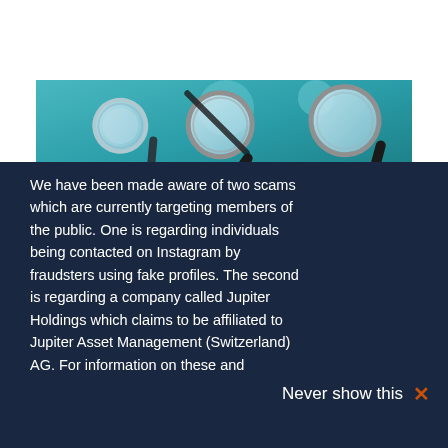[Figure (logo): Jupiter Asset Management logo — orange globe/shell icon above the text JUPITER in dark navy bold, with ASSET MANAGEMENT in small spaced caps beneath]
[Figure (photo): Hero banner photo showing multiple magnifying glasses on a teal/blue background]
We have been made aware of two scams which are currently targeting members of the public. One is regarding individuals being contacted on Instagram by fraudsters using fake profiles. The second is regarding a company called Jupiter Holdings which claims to be affiliated to Jupiter Asset Management (Switzerland) AG. For information on these and
Never show this